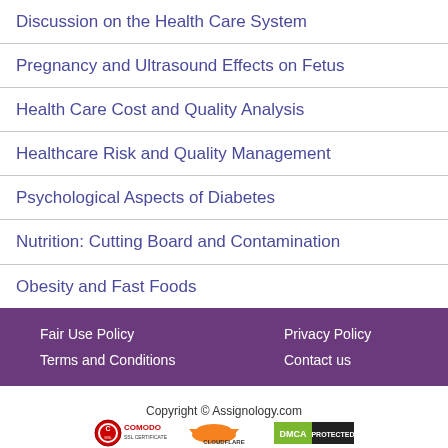Discussion on the Health Care System
Pregnancy and Ultrasound Effects on Fetus
Health Care Cost and Quality Analysis
Healthcare Risk and Quality Management
Psychological Aspects of Diabetes
Nutrition: Cutting Board and Contamination
Obesity and Fast Foods
Fair Use Policy   Privacy Policy   Terms and Conditions   Contact us   Copyright © Assignology.com